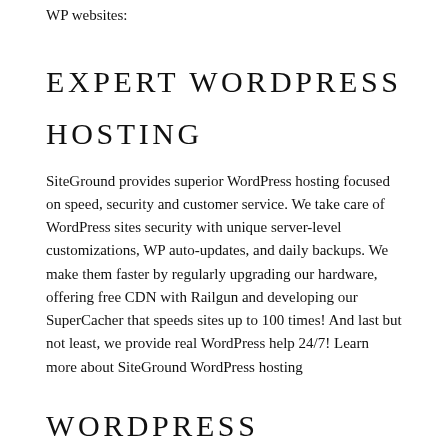WP websites:
EXPERT WORDPRESS
HOSTING
SiteGround provides superior WordPress hosting focused on speed, security and customer service. We take care of WordPress sites security with unique server-level customizations, WP auto-updates, and daily backups. We make them faster by regularly upgrading our hardware, offering free CDN with Railgun and developing our SuperCacher that speeds sites up to 100 times! And last but not least, we provide real WordPress help 24/7! Learn more about SiteGround WordPress hosting
WORDPRESS TUTORIAL AND